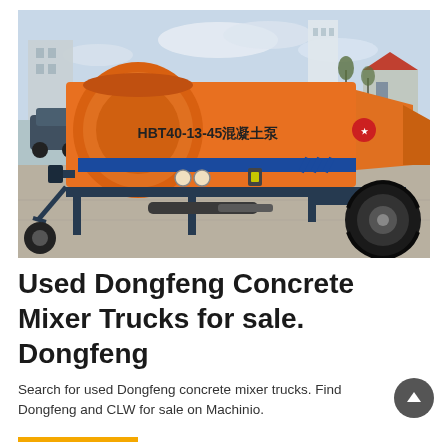[Figure (photo): Orange and blue concrete pump trailer (HBT40-13-45 混凝土泵) parked on a paved surface outdoors, with buildings and vehicles visible in the background.]
Used Dongfeng Concrete Mixer Trucks for sale. Dongfeng
Search for used Dongfeng concrete mixer trucks. Find Dongfeng and CLW for sale on Machinio.